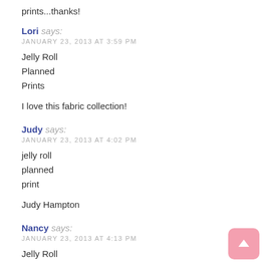prints...thanks!
Lori says:
JANUARY 23, 2013 AT 3:59 PM
Jelly Roll
Planned
Prints

I love this fabric collection!
Judy says:
JANUARY 23, 2013 AT 4:02 PM
jelly roll
planned
print

Judy Hampton
Nancy says:
JANUARY 23, 2013 AT 4:13 PM
Jelly Roll